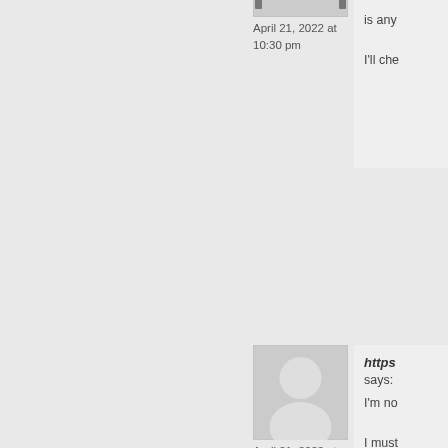[Figure (illustration): Generic user avatar placeholder (gray silhouette on gray background) at top]
April 21, 2022 at 10:30 pm
is any
I'll che
[Figure (illustration): Generic user avatar placeholder (gray silhouette on gray background) middle]
April 21, 2022 at 10:38 pm
https
says:
I'm no
I must
Thank
inform
[Figure (illustration): Generic user avatar placeholder (gray silhouette on gray background) bottom]
resid
Hi the